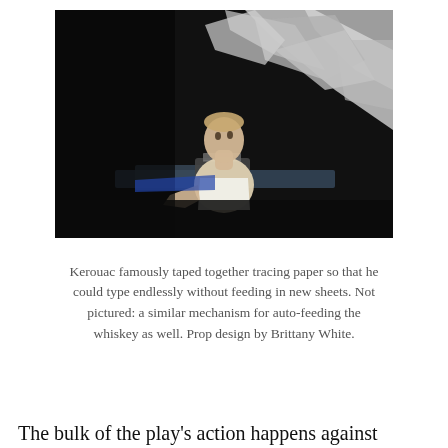[Figure (photo): A theatrical stage photo showing a man in a white tank top sitting at a typewriter, looking upward, with large crumpled or folded paper pieces surrounding him in the background against a dark stage setting.]
Kerouac famously taped together tracing paper so that he could type endlessly without feeding in new sheets. Not pictured: a similar mechanism for auto-feeding the whiskey as well. Prop design by Brittany White.
The bulk of the play's action happens against